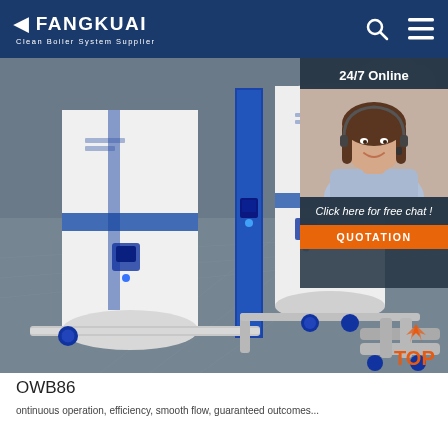FANGKUAI Clean Boiler System Supplier
[Figure (photo): 3D rendered industrial boiler system with large white cylindrical tanks with blue accents, pipes and valves on a grey floor, silver spherical tank in background. Overlay chat widget with '24/7 Online' text, female customer service agent photo, 'Click here for free chat!' text, and orange QUOTATION button. Bottom-right shows a TOP navigation marker.]
OWB86
ontinuous operation, efficiency, smooth flow, guaranteed outcomes...